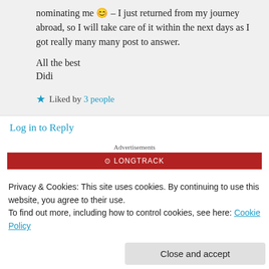nominating me 😊 – I just returned from my journey abroad, so I will take care of it within the next days as I got really many many post to answer.
All the best
Didi
★ Liked by 3 people
Log in to Reply
Advertisements
Privacy & Cookies: This site uses cookies. By continuing to use this website, you agree to their use.
To find out more, including how to control cookies, see here: Cookie Policy
Close and accept
0   0   Rate this